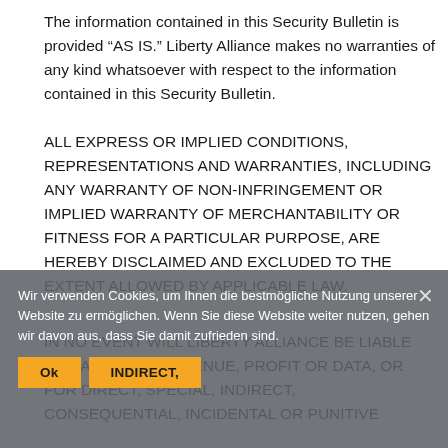The information contained in this Security Bulletin is provided “AS IS.” Liberty Alliance makes no warranties of any kind whatsoever with respect to the information contained in this Security Bulletin.
ALL EXPRESS OR IMPLIED CONDITIONS, REPRESENTATIONS AND WARRANTIES, INCLUDING ANY WARRANTY OF NON-INFRINGEMENT OR IMPLIED WARRANTY OF MERCHANTABILITY OR FITNESS FOR A PARTICULAR PURPOSE, ARE HEREBY DISCLAIMED AND EXCLUDED TO THE EXTENT ALLOWED BY APPLICABLE LAW.
IN NO EVENT WILL LIBERTY ALLIANCE BE LIABLE FOR ANY LOST REVENUE, PROFIT OR DATA, OR FOR DIRECT, SPECIAL, INDIRECT, CONSEQUENTIAL, INCIDENTAL OR PUNITIVE
Wir verwenden Cookies, um Ihnen die bestmögliche Nutzung unserer Website zu ermöglichen. Wenn Sie diese Website weiter nutzen, gehen wir davon aus, dass Sie damit zufrieden sind.